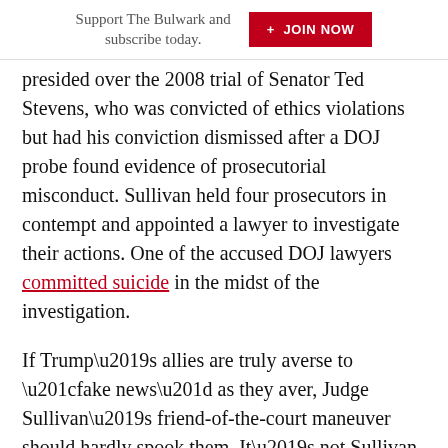Support The Bulwark and subscribe today. + JOIN NOW
presided over the 2008 trial of Senator Ted Stevens, who was convicted of ethics violations but had his conviction dismissed after a DOJ probe found evidence of prosecutorial misconduct. Sullivan held four prosecutors in contempt and appointed a lawyer to investigate their actions. One of the accused DOJ lawyers committed suicide in the midst of the investigation.
If Trump’s allies are truly averse to “fake news” as they aver, Judge Sullivan’s friend-of-the-court maneuver should hardly spook them. It’s not Sullivan but rather Barr who is on an unmistakable mission to blink reality by denying the facts laid